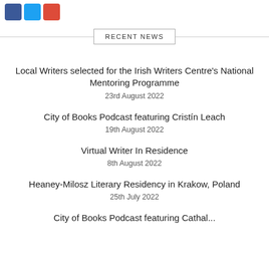[Figure (other): Social media share icons: Facebook (blue), Twitter (light blue), Google+ (red)]
RECENT NEWS
Local Writers selected for the Irish Writers Centre's National Mentoring Programme
23rd August 2022
City of Books Podcast featuring Cristín Leach
19th August 2022
Virtual Writer In Residence
8th August 2022
Heaney-Milosz Literary Residency in Krakow, Poland
25th July 2022
City of Books Podcast featuring Cathal...